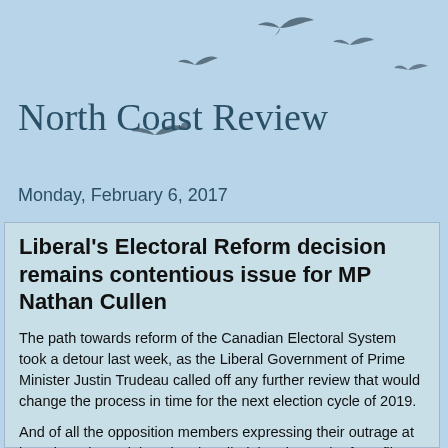[Figure (illustration): Flying birds silhouettes scattered across light blue header background]
North Coast Review
Monday, February 6, 2017
Liberal's Electoral Reform decision remains contentious issue for MP Nathan Cullen
The path towards reform of the Canadian Electoral System took a detour last week, as the Liberal Government of Prime Minister Justin Trudeau called off any further review that would change the process in time for the next election cycle of 2019.
And of all the opposition members expressing their outrage at how the Prime Minister has handled the electoral reform file, none was more vociferous on the theme last week than Skeena-BulkleyValley's Nathan Cullen.